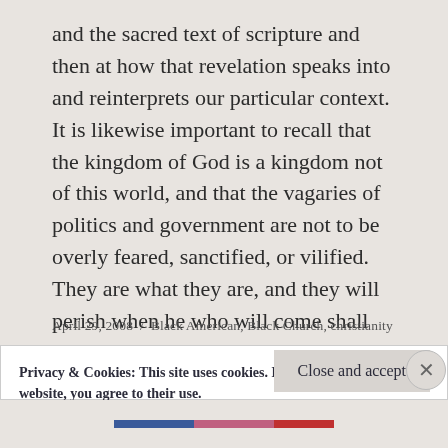and the sacred text of scripture and then at how that revelation speaks into and reinterprets our particular context. It is likewise important to recall that the kingdom of God is a kingdom not of this world, and that the vagaries of politics and government are not to be overly feared, sanctified, or vilified. They are what they are, and they will perish when he who will come shall come.
April 29, 2008 / Black American, Black Church, christianity
Privacy & Cookies: This site uses cookies. By continuing to use this website, you agree to their use.
To find out more, including how to control cookies, see here:
Cookie Policy
Close and accept